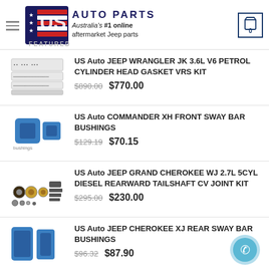US AUTO PARTS — Australia's #1 online aftermarket Jeep parts
FEATURED
US Auto JEEP WRANGLER JK 3.6L V6 PETROL CYLINDER HEAD GASKET VRS KIT — $890.00 $770.00
US Auto COMMANDER XH FRONT SWAY BAR BUSHINGS — $129.19 $70.15
US Auto JEEP GRAND CHEROKEE WJ 2.7L 5CYL DIESEL REARWARD TAILSHAFT CV JOINT KIT — $295.00 $230.00
US Auto JEEP CHEROKEE XJ REAR SWAY BAR BUSHINGS — $96.32 $87.90
POPULAR